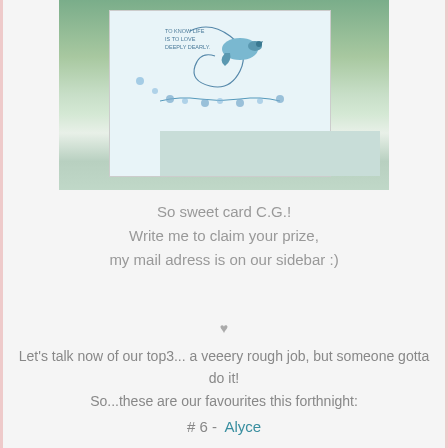[Figure (photo): A handmade greeting card with a blue bird and floral designs on a wooden surface with green foliage background]
So sweet card C.G.!
Write me to claim your prize,
my mail adress is on our sidebar :)
♥
Let's talk now of our top3... a veeery rough job, but someone gotta do it!
So...these are our favourites this forthnight:
# 6 -  Alyce